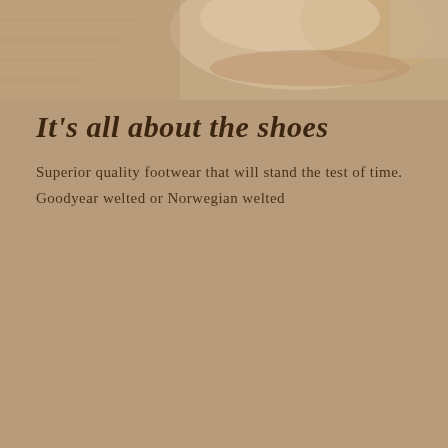[Figure (photo): Partial top view of a tan/beige shoe against a warm brown background]
It's all about the shoes
Superior quality footwear that will stand the test of time. Goodyear welted or Norwegian welted